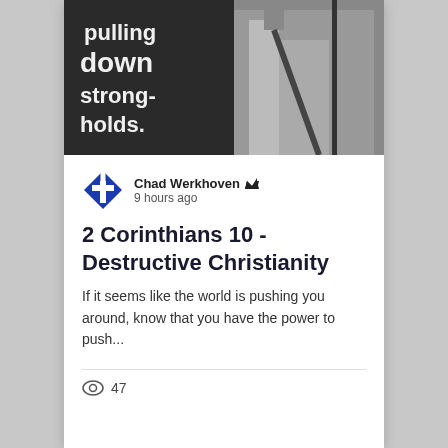[Figure (photo): Grayscale stylized photo of a robed figure holding a staff, with text overlay reading 'pulling down strongholds.']
Chad Werkhoven 👑
9 hours ago
2 Corinthians 10 - Destructive Christianity
If it seems like the world is pushing you around, know that you have the power to push...
47